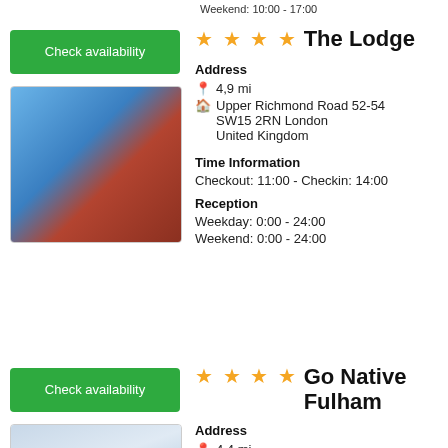Weekend: 10:00 - 17:00
Check availability
[Figure (photo): Street photo showing a red double-decker bus in motion on an urban road with buildings and a tree in the background.]
★★★★ The Lodge
Address
📍 4,9 mi
Upper Richmond Road 52-54 SW15 2RN London United Kingdom
Time Information
Checkout: 11:00 - Checkin: 14:00
Reception
Weekday: 0:00 - 24:00
Weekend: 0:00 - 24:00
Check availability
[Figure (photo): Partial photo of a hotel room interior, light blue/grey tones.]
★★★★ Go Native Fulham
Address
📍 4,4 mi